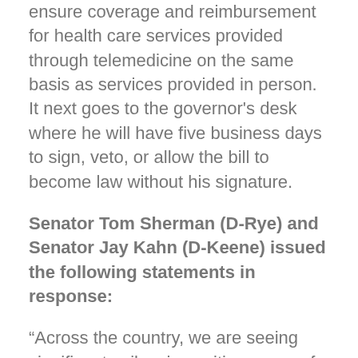ensure coverage and reimbursement for health care services provided through telemedicine on the same basis as services provided in person.  It next goes to the governor's desk where he will have five business days to sign, veto, or allow the bill to become law without his signature.
Senator Tom Sherman (D-Rye) and Senator Jay Kahn (D-Keene) issued the following statements in response:
“Across the country, we are seeing significant spikes in positive cases of COVID-19,” stated Senator Tom Sherman (D-Rye). “From the beginning of this pandemic we have predicted a second wave, possibly more severe